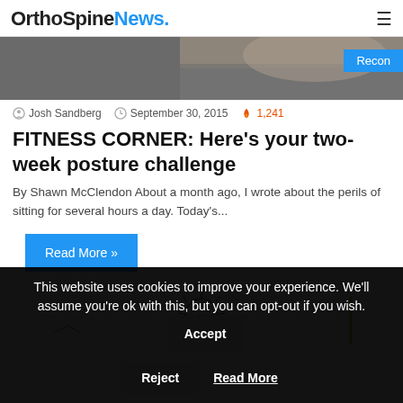OrthoSpineNews.
[Figure (photo): Partial animal/cat image with blue 'Recon' badge overlay in top right corner]
Josh Sandberg   September 30, 2015   1,241
FITNESS CORNER: Here's your two-week posture challenge
By Shawn McClendon About a month ago, I wrote about the perils of sitting for several hours a day. Today's...
Read More »
[Figure (illustration): Partial view of a lightbulb sketch illustration]
This website uses cookies to improve your experience. We'll assume you're ok with this, but you can opt-out if you wish.
Accept
Reject
Read More